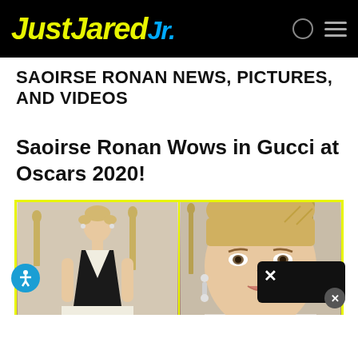JustJaredJr.
SAOIRSE RONAN NEWS, PICTURES, AND VIDEOS
Saoirse Ronan Wows in Gucci at Oscars 2020!
[Figure (photo): Two side-by-side photos of Saoirse Ronan at the Oscars 2020 red carpet. Left photo shows her full figure in a black and white Gucci gown with deep V-neck. Right photo is a close-up of her face with blonde bangs and statement earrings. Both photos have Oscar statuettes visible in the background.]